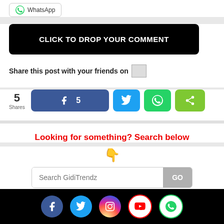[Figure (screenshot): WhatsApp share button at top]
CLICK TO DROP YOUR COMMENT
Share this post with your friends on
[Figure (infographic): Social share row: 5 Shares, Facebook (5), Twitter, WhatsApp, Share buttons]
Looking for something? Search below
👇
Search GidiTrendz  GO
Social media icons: Facebook, Twitter, Instagram, YouTube, WhatsApp